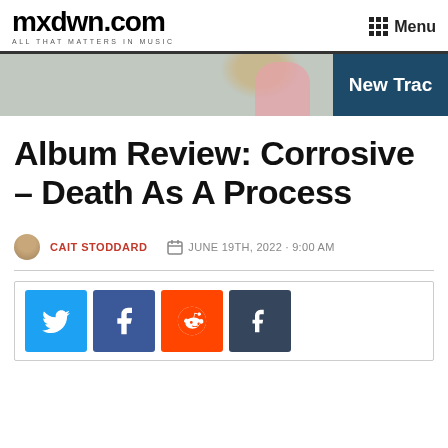mxdwn.com — ALL THAT MATTERS IN MUSIC | Menu
[Figure (photo): Banner image showing people at an outdoor event, with a dark blue overlay panel on the right showing 'New Trac']
Album Review: Corrosive – Death As A Process
CAIT STODDARD  |  JUNE 19TH, 2022 · 9:00 AM
[Figure (infographic): Social share buttons: Twitter (blue), Facebook (dark blue), Reddit (orange), Tumblr (dark slate)]